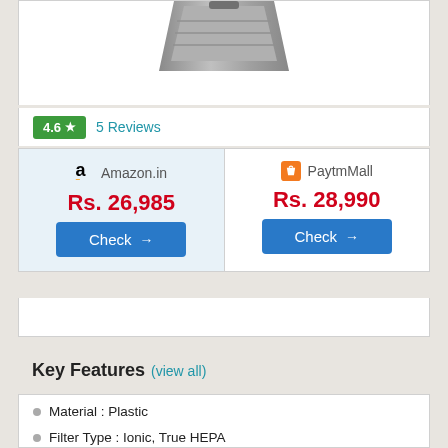[Figure (photo): Partial product image of an air purifier device, gray/silver colored, cropped at top]
4.6 ★  5 Reviews
| Amazon.in | PaytmMall |
| --- | --- |
| Rs. 26,985 | Rs. 28,990 |
| Check → | Check → |
Key Features (view all)
Material : Plastic
Filter Type : Ionic, True HEPA
Coverage Area : 355 sq ft
Technology Used : Nanoe & Composite Air Filter Technology
Ozone Output : 33 mg/hr